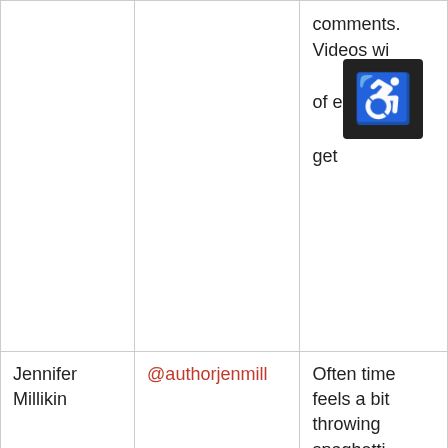|  |  | comments. Videos wi of e get ♿ |
| Jennifer Millikin | @authorjenmill | Often time feels a bit throwing spaghetti wall and s if it sticks. Generally speaking, of TikTok appreciate authentic |